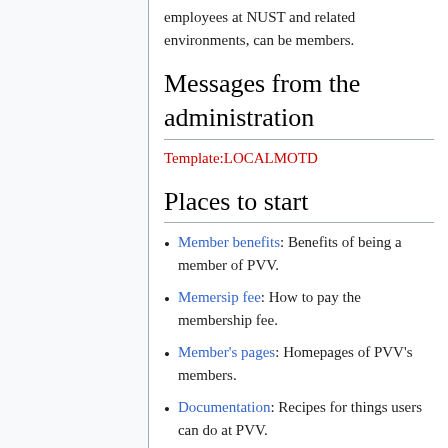employees at NUST and related environments, can be members.
Messages from the administration
Template:LOCALMOTD
Places to start
Member benefits: Benefits of being a member of PVV.
Memersip fee: How to pay the membership fee.
Member's pages: Homepages of PVV's members.
Documentation: Recipes for things users can do at PVV.
Administration: Documentation for (potential) administrators.
Mailing lists